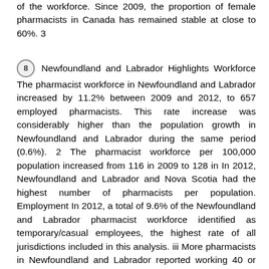of the workforce. Since 2009, the proportion of female pharmacists in Canada has remained stable at close to 60%. 3
8 Newfoundland and Labrador Highlights Workforce The pharmacist workforce in Newfoundland and Labrador increased by 11.2% between 2009 and 2012, to 657 employed pharmacists. This rate increase was considerably higher than the population growth in Newfoundland and Labrador during the same period (0.6%). 2 The pharmacist workforce per 100,000 population increased from 116 in 2009 to 128 in In 2012, Newfoundland and Labrador and Nova Scotia had the highest number of pharmacists per population. Employment In 2012, a total of 9.6% of the Newfoundland and Labrador pharmacist workforce identified as temporary/casual employees, the highest rate of all jurisdictions included in this analysis. iii More pharmacists in Newfoundland and Labrador reported working 40 or more hours per week, on average (40.0%), than the average across all jurisdictions in this analysis (32.5%). Only 60|9% of pharmacists in Newfoundland and Labrador identified